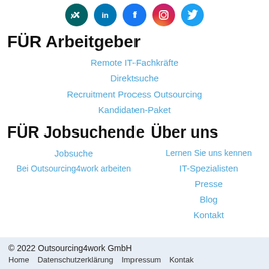[Figure (illustration): Social media icons: Xing, LinkedIn, Facebook, Instagram, Twitter]
FÜR Arbeitgeber
Remote IT-Fachkräfte
Direktsuche
Recruitment Process Outsourcing
Kandidaten-Paket
FÜR Jobsuchende
Über uns
Jobsuche
Bei Outsourcing4work arbeiten
Lernen Sie uns kennen
IT-Spezialisten
Presse
Blog
Kontakt
© 2022 Outsourcing4work GmbH   Home   Datenschutzerklärung   Impressum   Kontak